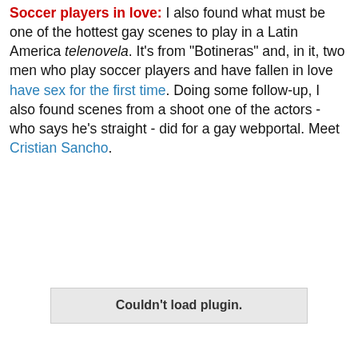Soccer players in love: I also found what must be one of the hottest gay scenes to play in a Latin America telenovela. It's from "Botineras" and, in it, two men who play soccer players and have fallen in love have sex for the first time. Doing some follow-up, I also found scenes from a shoot one of the actors - who says he's straight - did for a gay webportal. Meet Cristian Sancho.
[Figure (other): Video plugin placeholder showing 'Couldn't load plugin.' message]
Hey ladies! Oh, and Puerto Rican salsa/reggaeton singer Lisa M. came out (it's a video from VEVO, which means it might not be available to watch in your region).